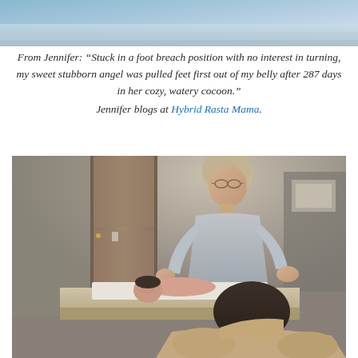[Figure (photo): Top portion of a photo showing a bed with blue bedding, partially cropped at the top of the page]
From Jennifer: “Stuck in a foot breach position with no interest in turning, my sweet stubborn angel was pulled feet first out of my belly after 287 days in her cozy, watery cocoon.” Jennifer blogs at Hybrid Rasta Mama.
[Figure (photo): Photo of a woman in a grey shirt helping a man hold a newborn baby on what appears to be a table or surface, in a home setting with a wooden door visible in the background]